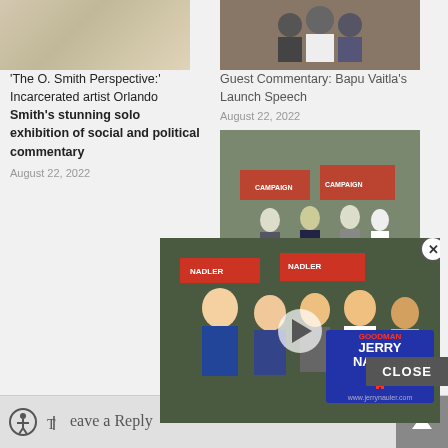[Figure (photo): Art exhibition image - sketch/drawing artwork]
'The O. Smith Perspective:' Incarcerated artist Orlando Smith's stunning solo exhibition of social and political commentary
August 22, 2022
[Figure (photo): Group of people posing together outdoors]
Guest Commentary: Bapu Vaitla's Launch Speech
August 22, 2022
[Figure (photo): Outdoor rally scene with campaign signs]
Guest C... H Spen... to Less... the Opposition
August 22, 2022
[Figure (photo): Video overlay showing political campaign event with Jerry Nadler sign]
CLOSE
Leave a Reply